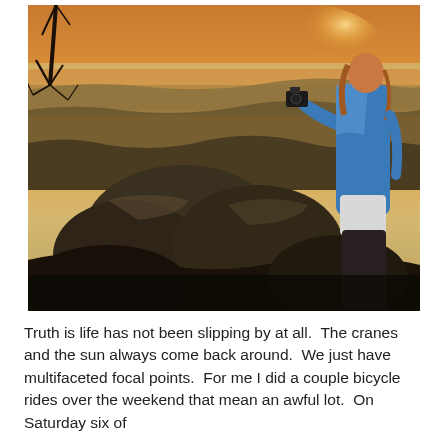[Figure (photo): A person in a blue jacket stands on large boulders at dusk, photographing with a camera. Dead tree branches are visible on the left, and a vast landscape stretches to the horizon under a warm orange-yellow sunset sky.]
Truth is life has not been slipping by at all.  The cranes and the sun always come back around.  We just have multifaceted focal points.  For me I did a couple bicycle rides over the weekend that mean an awful lot.  On Saturday six of